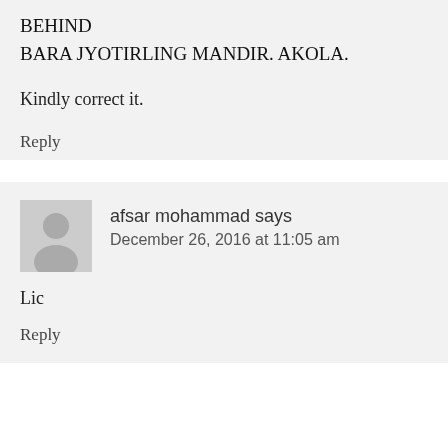BEHIND
BARA JYOTIRLING MANDIR. AKOLA.
Kindly correct it.
Reply
afsar mohammad says
December 26, 2016 at 11:05 am
Lic
Reply